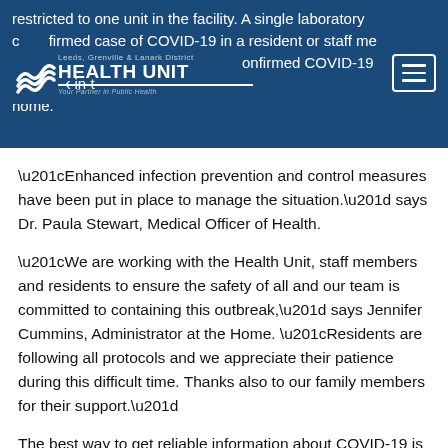restricted to one unit in the facility. A single laboratory confirmed case of COVID-19 in a resident or staff member triggers a confirmed COVID-19 outbreak in the home.
[Figure (logo): Leeds, Grenville & Lanark District Health Unit logo with wave motif]
“Enhanced infection prevention and control measures have been put in place to manage the situation.” says Dr. Paula Stewart, Medical Officer of Health.
“We are working with the Health Unit, staff members and residents to ensure the safety of all and our team is committed to containing this outbreak,” says Jennifer Cummins, Administrator at the Home. “Residents are following all protocols and we appreciate their patience during this difficult time. Thanks also to our family members for their support.”
The best way to get reliable information about COVID-19 is by visiting the COVID-19 section of our website. Please call the Health Unit if you have any questions at 1-800-660-5853 from 8:30am to 4:30pm every day. You can also get important public health updates about COVID-19 by